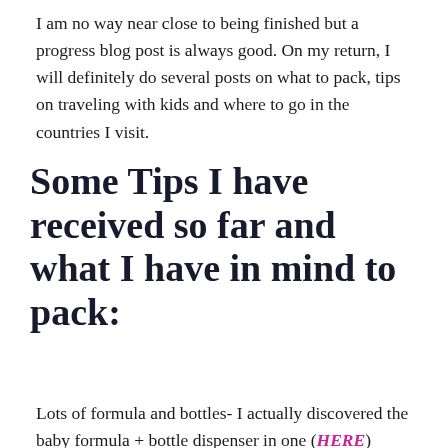I am no way near close to being finished but a progress blog post is always good. On my return, I will definitely do several posts on what to pack, tips on traveling with kids and where to go in the countries I visit.
Some Tips I have received so far and what I have in mind to pack:
Lots of formula and bottles- I actually discovered the baby formula + bottle dispenser in one (HERE)